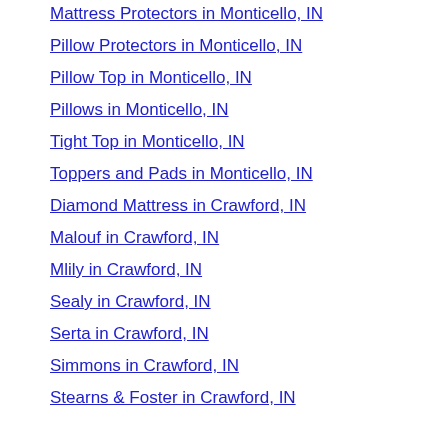Mattress Protectors in Monticello, IN
Pillow Protectors in Monticello, IN
Pillow Top in Monticello, IN
Pillows in Monticello, IN
Tight Top in Monticello, IN
Toppers and Pads in Monticello, IN
Diamond Mattress in Crawford, IN
Malouf in Crawford, IN
Mlily in Crawford, IN
Sealy in Crawford, IN
Serta in Crawford, IN
Simmons in Crawford, IN
Stearns & Foster in Crawford, IN